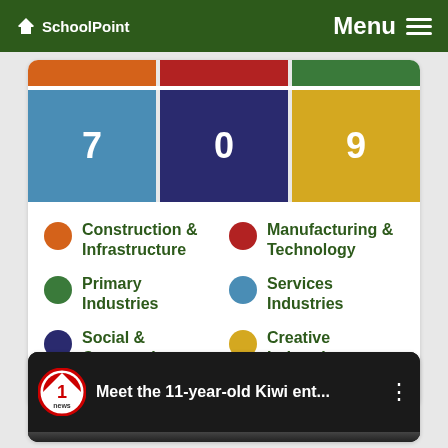SchoolPoint — Menu
[Figure (infographic): Color-coded category tiles: row 1 shows orange, red, green bars; row 2 shows blue tile with '7', navy tile with '0', yellow tile with '9']
Construction & Infrastructure
Manufacturing & Technology
Primary Industries
Services Industries
Social & Community Services
Creative Industries
[Figure (screenshot): Video thumbnail: 1 News logo with text 'Meet the 11-year-old Kiwi ent...']